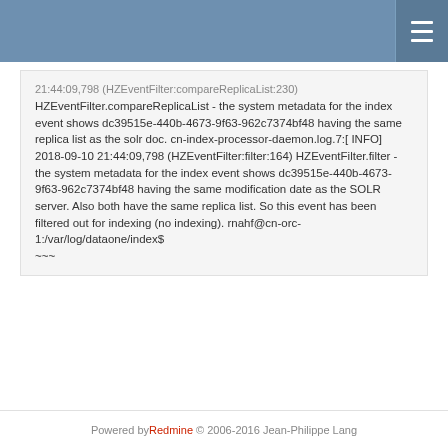21:44:09,798 (HZEventFilter:compareReplicaList:230) HZEventFilter.compareReplicaList - the system metadata for the index event shows dc39515e-440b-4673-9f63-962c7374bf48 having the same replica list as the solr doc. cn-index-processor-daemon.log.7:[ INFO] 2018-09-10 21:44:09,798 (HZEventFilter:filter:164) HZEventFilter.filter - the system metadata for the index event shows dc39515e-440b-4673-9f63-962c7374bf48 having the same modification date as the SOLR server. Also both have the same replica list. So this event has been filtered out for indexing (no indexing). rnahf@cn-orc-1:/var/log/dataone/index$ ~~~
Back
Powered by Redmine © 2006-2016 Jean-Philippe Lang